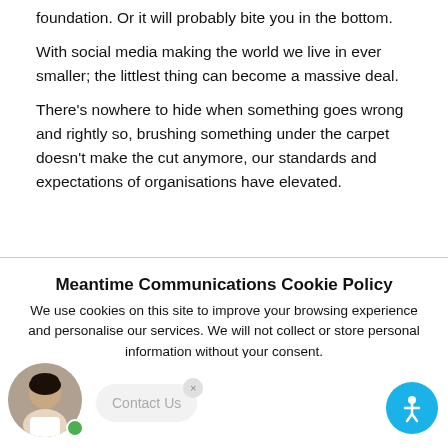foundation. Or it will probably bite you in the bottom.
With social media making the world we live in ever smaller; the littlest thing can become a massive deal.
There's nowhere to hide when something goes wrong and rightly so, brushing something under the carpet doesn't make the cut anymore, our standards and expectations of organisations have elevated.
Meantime Communications Cookie Policy
We use cookies on this site to improve your browsing experience and personalise our services. We will not collect or store personal information without your consent.
For details read our Privacy Policy